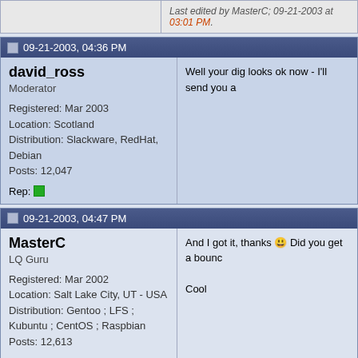Last edited by MasterC; 09-21-2003 at 03:01 PM.
09-21-2003, 04:36 PM
david_ross
Moderator
Registered: Mar 2003
Location: Scotland
Distribution: Slackware, RedHat, Debian
Posts: 12,047
Rep:
Well your dig looks ok now - I'll send you a
09-21-2003, 04:47 PM
MasterC
LQ Guru
Registered: Mar 2002
Location: Salt Lake City, UT - USA
Distribution: Gentoo ; LFS ; Kubuntu ; CentOS ; Raspbian
Posts: 12,613
Original Poster
Rep:
And I got it, thanks :) Did you get a bounc

Cool
09-21-2003, 04:52 PM